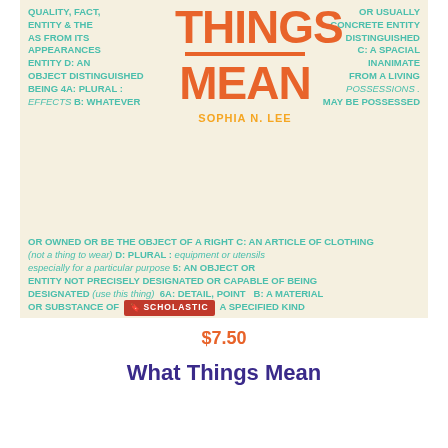[Figure (illustration): Book cover for 'What Things Mean' by Sophia N. Lee, published by Scholastic. The cover has a cream/beige background filled with teal/green dictionary-style definitions of the word 'thing'. In the center, large orange uppercase letters spell out 'THINGS' and 'MEAN', with an orange underline between them. Below that is the author name 'SOPHIA N. LEE' in orange/yellow text. At the bottom is a red Scholastic publisher badge. The text around the edges defines the word 'thing' in a decorative dictionary-entry style.]
$7.50
What Things Mean